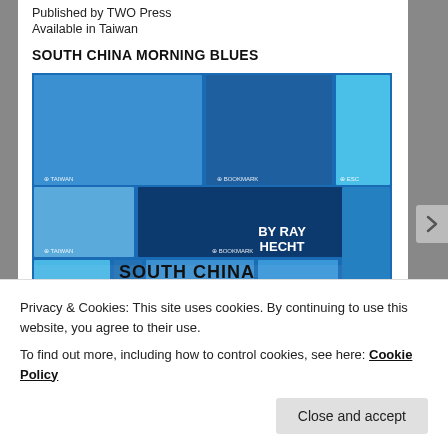Published by TWO Press
Available in Taiwan
SOUTH CHINA MORNING BLUES
[Figure (illustration): Book cover of 'South China Morning Blues' by Ray Hecht, featuring a collage of blue rectangles in various shades with the author name and title in bold black text at the bottom.]
Privacy & Cookies: This site uses cookies. By continuing to use this website, you agree to their use.
To find out more, including how to control cookies, see here: Cookie Policy